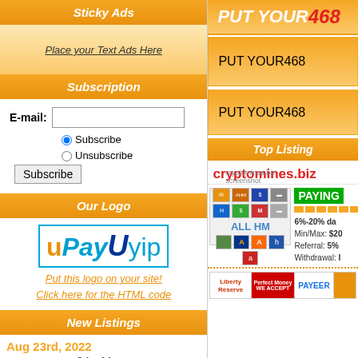Sticky Ads
Place your Text Ads Here
Subscription
E-mail: [input] Subscribe / Unsubscribe / Subscribe button
Our Logo
[Figure (logo): UPayU yip logo with blue border]
Put this logo on your site! Click here for the HTML code
New Listings
Aug 23rd, 2022
3dgold.pro
[Figure (infographic): PUT YOUR 468 ad banner - top cropped]
[Figure (infographic): PUT YOUR 468 ad banner - middle]
[Figure (infographic): PUT YOUR 468 ad banner - lower]
Top Listing
cryptomines.biz
[Figure (screenshot): cryptomines.biz screenshot with payment icons and ALL HM text]
PAYING 6%-20% daily Min/Max: $20 Referral: 5% Withdrawal: I
| Liberty Reserve | Perfect Money WE ACCEPT | PAYEER |  |
| --- | --- | --- | --- |